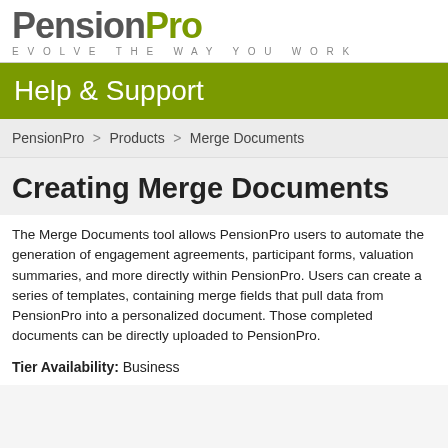PensionPro — EVOLVE THE WAY YOU WORK
Help & Support
PensionPro > Products > Merge Documents
Creating Merge Documents
The Merge Documents tool allows PensionPro users to automate the generation of engagement agreements, participant forms, valuation summaries, and more directly within PensionPro. Users can create a series of templates, containing merge fields that pull data from PensionPro into a personalized document. Those completed documents can be directly uploaded to PensionPro.
Tier Availability: Business